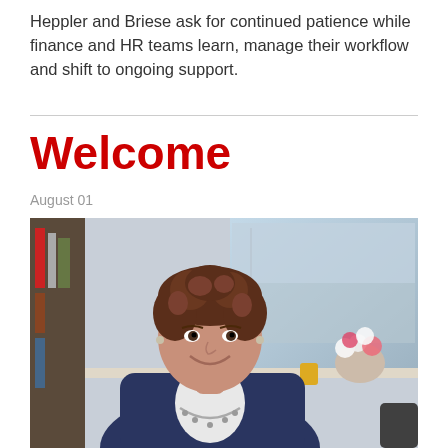Heppler and Briese ask for continued patience while finance and HR teams learn, manage their workflow and shift to ongoing support.
Welcome
August 01
[Figure (photo): A smiling woman with short curly brown hair wearing a navy blue cardigan and a silver necklace, seated in an office setting with a window showing a blurred street scene and a flower arrangement in the background.]